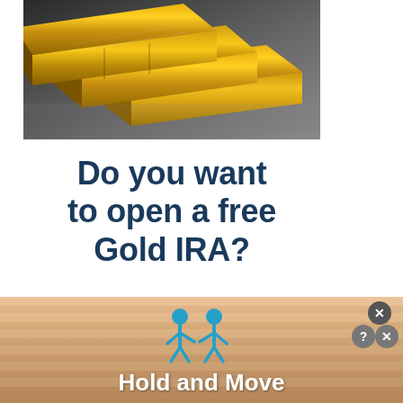[Figure (photo): Stacked gold bars photographed up close on a gray reflective surface]
Do you want to open a free Gold IRA?
Find Out More
[Figure (infographic): Ad banner with peach/orange roller background, two blue cartoon figures, text 'Hold and Move', and close/help/X buttons in top-right corner]